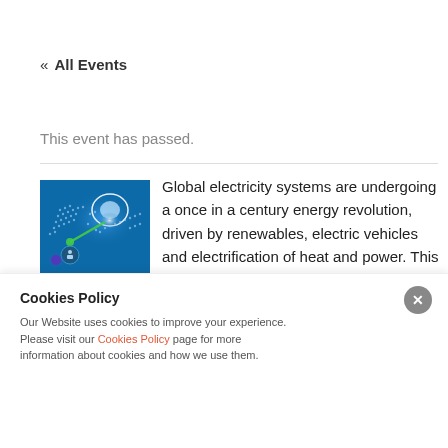« All Events
This event has passed.
[Figure (illustration): Blue digital world map with glowing network connections and a white highlighted region, with a magnifying glass, representing global electricity/energy networks.]
Global electricity systems are undergoing a once in a century energy revolution, driven by renewables, electric vehicles and electrification of heat and power. This online event aims to showcase the
energy innovations, pilots and deployments before the AI as well as and energy
Cookies Policy
Our Website uses cookies to improve your experience. Please visit our Cookies Policy page for more information about cookies and how we use them.